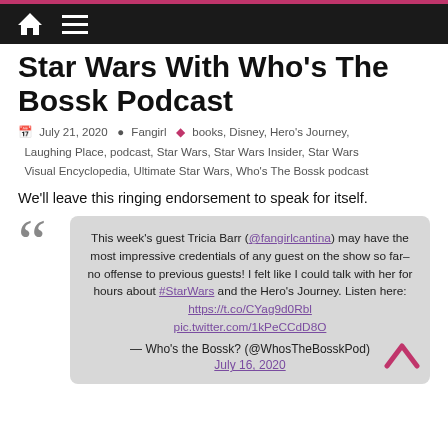Star Wars With Who's The Bossk Podcast — website header navigation
Star Wars With Who's The Bossk Podcast
July 21, 2020  Fangirl  books, Disney, Hero's Journey, Laughing Place, podcast, Star Wars, Star Wars Insider, Star Wars Visual Encyclopedia, Ultimate Star Wars, Who's The Bossk podcast
We'll leave this ringing endorsement to speak for itself.
This week's guest Tricia Barr (@fangirlcantina) may have the most impressive credentials of any guest on the show so far– no offense to previous guests! I felt like I could talk with her for hours about #StarWars and the Hero's Journey. Listen here: https://t.co/CYag9d0Rbl pic.twitter.com/1kPeCCdD8O — Who's the Bossk? (@WhosTheBosskPod) July 16, 2020